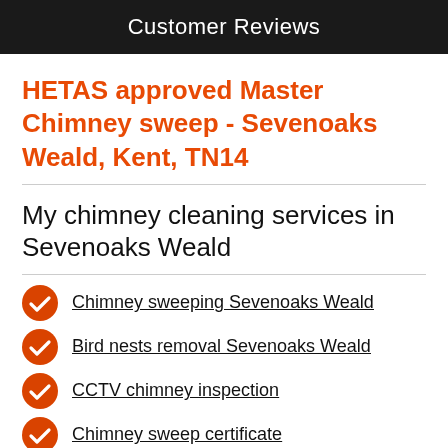Customer Reviews
HETAS approved Master Chimney sweep - Sevenoaks Weald, Kent, TN14
My chimney cleaning services in Sevenoaks Weald
Chimney sweeping Sevenoaks Weald
Bird nests removal Sevenoaks Weald
CCTV chimney inspection
Chimney sweep certificate
Chimney sweep hoover